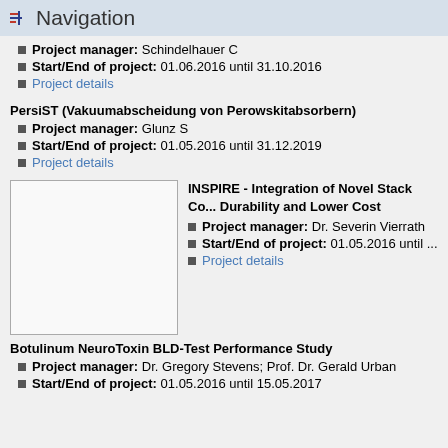Navigation
Project manager: Schindelhauer C
Start/End of project: 01.06.2016 until 31.10.2016
Project details
PersiST (Vakuumabscheidung von Perowskitabsorbern)
Project manager: Glunz S
Start/End of project: 01.05.2016 until 31.12.2019
Project details
[Figure (photo): Placeholder image for INSPIRE project]
INSPIRE - Integration of Novel Stack Co... Durability and Lower Cost
Project manager: Dr. Severin Vierrath
Start/End of project: 01.05.2016 until ...
Project details
Botulinum NeuroToxin BLD-Test Performance Study
Project manager: Dr. Gregory Stevens; Prof. Dr. Gerald Urban
Start/End of project: 01.05.2016 until 15.05.2017